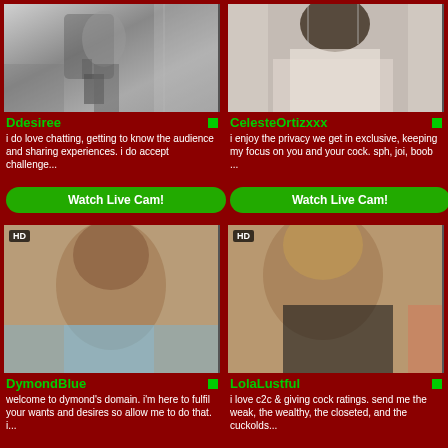[Figure (photo): Black and white photo of a woman posing near a window]
Ddesiree
i do love chatting, getting to know the audience and sharing experiences. i do accept challenge...
Watch Live Cam!
[Figure (photo): Color photo of a woman with curly hair showing cleavage]
CelesteOrtizxxx
i enjoy the privacy we get in exclusive, keeping my focus on you and your cock. sph, joi, boob ...
Watch Live Cam!
[Figure (photo): HD color photo of a woman with straight black hair in a car]
DymondBlue
welcome to dymond's domain. i'm here to fulfil your wants and desires so allow me to do that. i...
[Figure (photo): HD color photo of a woman with curly hair in a black bikini top]
LolaLustful
i love c2c & giving cock ratings. send me the weak, the wealthy, the closeted, and the cuckolds...